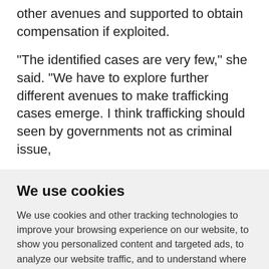other avenues and supported to obtain compensation if exploited.
"The identified cases are very few," she said. "We have to explore further different avenues to make trafficking cases emerge. I think trafficking should seen by governments not as criminal issue,
We use cookies
We use cookies and other tracking technologies to improve your browsing experience on our website, to show you personalized content and targeted ads, to analyze our website traffic, and to understand where our visitors are coming from.